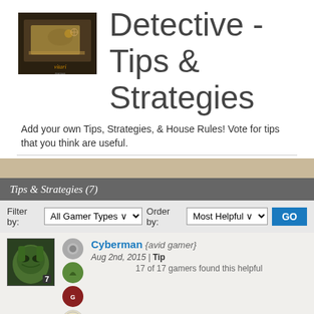[Figure (photo): Game cover image showing a dark desk scene with papers, compass, and candlelight, with 'Vitari games' watermark]
Detective - Tips & Strategies
Add your own Tips, Strategies, & House Rules! Vote for tips that you think are useful.
Tips & Strategies (7)
Filter by: All Gamer Types  Order by: Most Helpful  GO
[Figure (photo): Dragon avatar image with green dragon face, badge number 7, and several achievement badge icons]
Cyberman {avid gamer}
Aug 2nd, 2015 | Tip
17 of 17 gamers found this helpful
“seems to be some continuity”
I find that past cases may connect with each other, so be sure to complete each case in